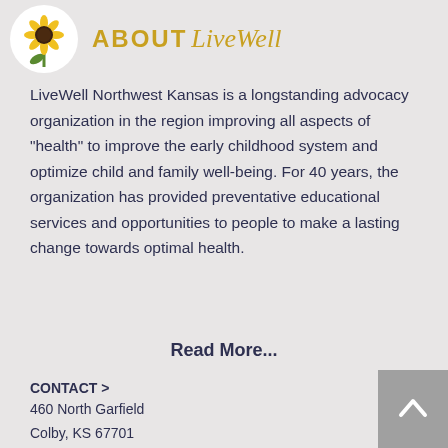ABOUT LiveWell
LiveWell Northwest Kansas is a longstanding advocacy organization in the region improving all aspects of "health" to improve the early childhood system and optimize child and family well-being. For 40 years, the organization has provided preventative educational services and opportunities to people to make a lasting change towards optimal health.
Read More...
CONTACT >
460 North Garfield
Colby, KS 67701
T: 785.460.8177
E: travisr@nwksprevention.com